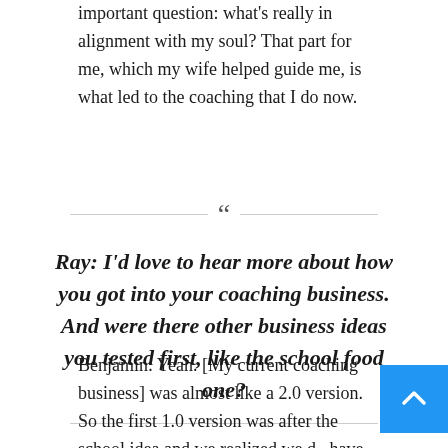important question: what's really in alignment with my soul? That part for me, which my wife helped guide me, is what led to the coaching that I do now.
Ray: I'd love to hear more about how you got into your coaching business. And were there other business ideas you tested first, like the school food one?
Benjamin: Yeah. [My current coaching business] was almost like a 2.0 version. So the first 1.0 version was after the school idea and we realized we d... have a business. And my wife was saying, "Hey...